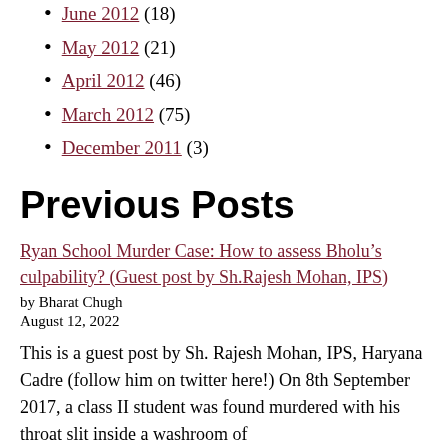June 2012 (18)
May 2012 (21)
April 2012 (46)
March 2012 (75)
December 2011 (3)
Previous Posts
Ryan School Murder Case: How to assess Bholu’s culpability? (Guest post by Sh.Rajesh Mohan, IPS)
by Bharat Chugh
August 12, 2022
This is a guest post by Sh. Rajesh Mohan, IPS, Haryana Cadre (follow him on twitter here!) On 8th September 2017, a class II student was found murdered with his throat slit inside a washroom of